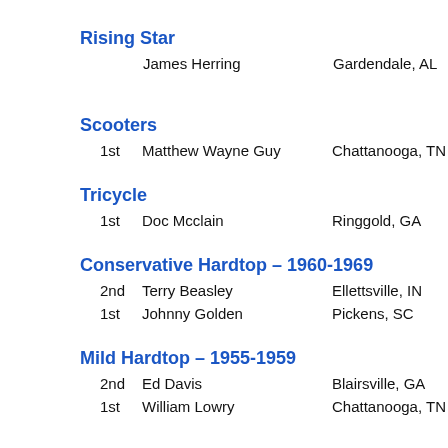Rising Star
James Herring    Gardendale, AL    1969 Chev
Scooters
1st    Matthew Wayne Guy    Chattanooga, TN    1
Tricycle
1st    Doc Mcclain    Ringgold, GA    1
Conservative Hardtop – 1960-1969
2nd    Terry Beasley    Ellettsville, IN    1
1st    Johnny Golden    Pickens, SC    1
Mild Hardtop – 1955-1959
2nd    Ed Davis    Blairsville, GA    1
1st    William Lowry    Chattanooga, TN    1